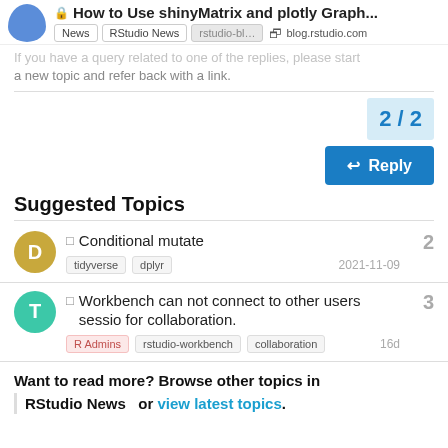🔒 How to Use shinyMatrix and plotly Graph...
If you have a query related to one of the replies, please start a new topic and refer back with a link.
2 / 2
Suggested Topics
☐ Conditional mutate | tidyverse dplyr | 2021-11-09 | 2
☐ Workbench can not connect to other users sessio for collaboration. | R Admins rstudio-workbench collaboration | 16d | 3
Want to read more? Browse other topics in RStudio News or view latest topics.